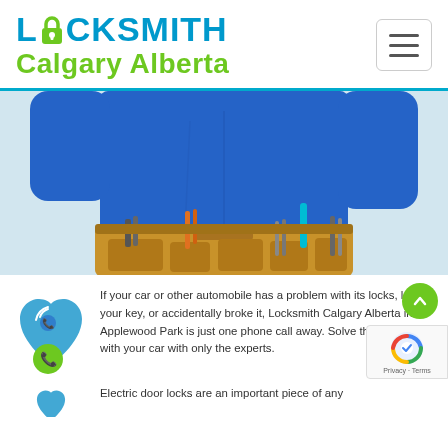LOCKSMITH Calgary Alberta
[Figure (photo): A locksmith technician wearing a blue uniform shirt and a leather tool belt with various tools, shown from torso down, arms raised.]
[Figure (illustration): Blue heart-shaped icon with phone/signal graphic and a green circle phone icon below it.]
If your car or other automobile has a problem with its locks, losing your key, or accidentally broke it, Locksmith Calgary Alberta in Applewood Park is just one phone call away. Solve the trouble with your car with only the experts.
[Figure (illustration): Blue heart-shaped icon, second instance, partially visible at bottom left.]
Electric door locks are an important piece of any